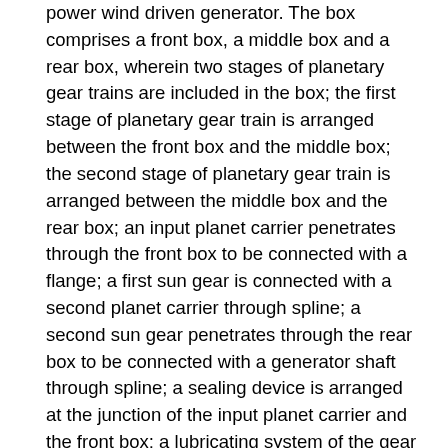power wind driven generator. The box comprises a front box, a middle box and a rear box, wherein two stages of planetary gear trains are included in the box; the first stage of planetary gear train is arranged between the front box and the middle box; the second stage of planetary gear train is arranged between the middle box and the rear box; an input planet carrier penetrates through the front box to be connected with a flange; a first sun gear is connected with a second planet carrier through spline; a second sun gear penetrates through the rear box to be connected with a generator shaft through spline; a sealing device is arranged at the junction of the input planet carrier and the front box; a lubricating system of the gear box comprises a lubricating oil bath, a motor pump, an oil path distributor and each lubricating oil duct; the lubricating oil duct is the lubricating oil duct which is arranged on the box, the input planet carrier and the planet gear shaft to be led to each bearing mounting point; the motor pump is connected in series between a lubricating oil box and the oil path distributor; and an output end of the motor pump is connected with each lubricating oil duct through the oil path distributor.